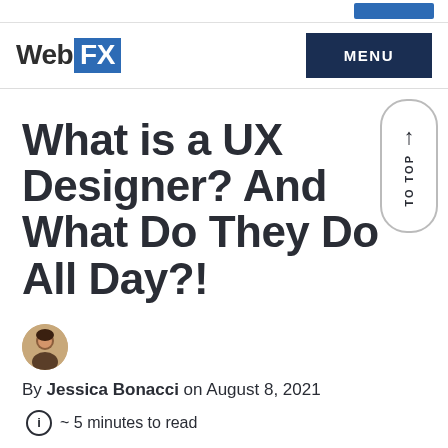WebFX | MENU
What is a UX Designer? And What Do They Do All Day?!
[Figure (photo): Author avatar photo of Jessica Bonacci]
By Jessica Bonacci on August 8, 2021
~ 5 minutes to read